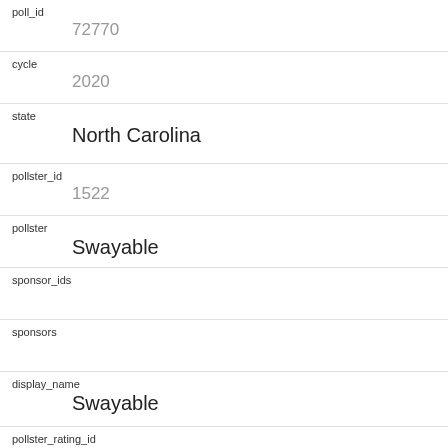| Field | Value |
| --- | --- |
| poll_id | 72770 |
| cycle | 2020 |
| state | North Carolina |
| pollster_id | 1522 |
| pollster | Swayable |
| sponsor_ids |  |
| sponsors |  |
| display_name | Swayable |
| pollster_rating_id | 543 |
| pollster_rating_name | Swayable |